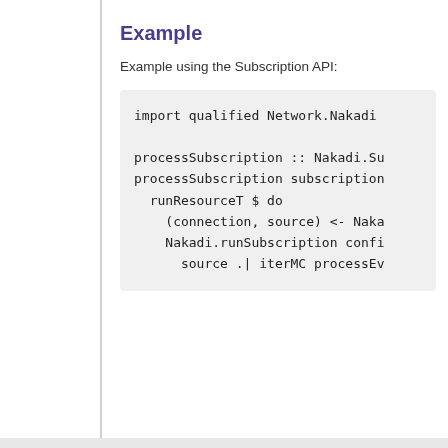Example
Example using the Subscription API:
import qualified Network.Nakadi

processSubscription :: Nakadi.Su
processSubscription subscription
  runResourceT $ do
    (connection, source) <- Naka
    Nakadi.runSubscription confi
      source .| iterMC processEv